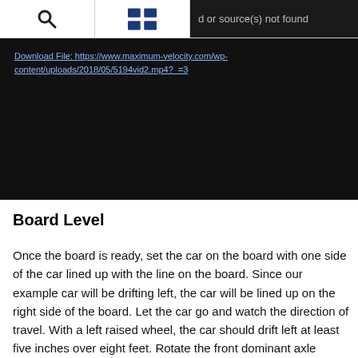[search icon] [grid icon] d or source(s) not found
[Figure (screenshot): Black video player area showing a broken video link. Text reads: Download File: https://www.maximum-velocity.com/wp-content/uploads/2018/05/5194vid2.mp4?_=3]
Board Level
Once the board is ready, set the car on the board with one side of the car lined up with the line on the board. Since our example car will be drifting left, the car will be lined up on the right side of the board. Let the car go and watch the direction of travel. With a left raised wheel, the car should drift left at least five inches over eight feet. Rotate the front dominant axle